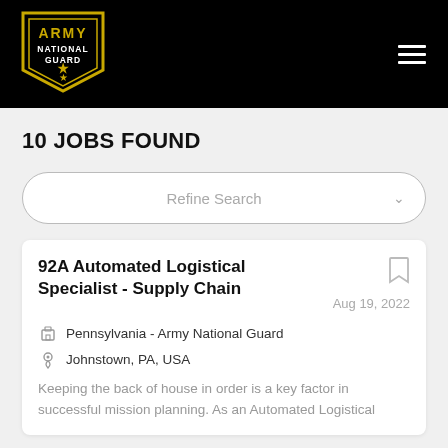[Figure (logo): Army National Guard shield logo with yellow text on black background]
10 JOBS FOUND
Refine Search
92A Automated Logistical Specialist - Supply Chain
Aug 19, 2022
Pennsylvania - Army National Guard
Johnstown, PA, USA
Keeping the back of house in order is a key factor in successful mission planning. As an Automated Logistical